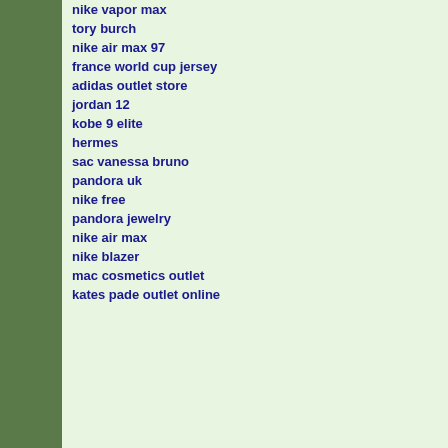nike vapor max
tory burch
nike air max 97
france world cup jersey
adidas outlet store
jordan 12
kobe 9 elite
hermes
sac vanessa bruno
pandora uk
nike free
pandora jewelry
nike air max
nike blazer
mac cosmetics outlet
kates pade outlet online